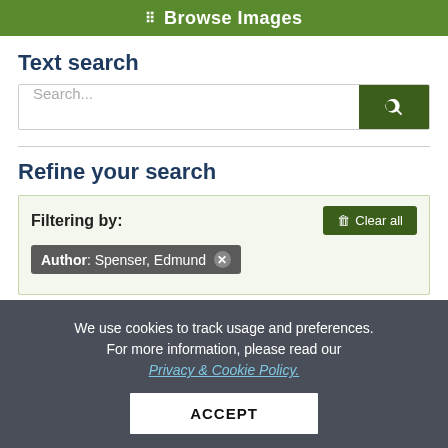Browse Images
Text search
Search...
Refine your search
Filtering by:
Author: Spenser, Edmund
We use cookies to track usage and preferences. For more information, please read our Privacy & Cookie Policy.
ACCEPT